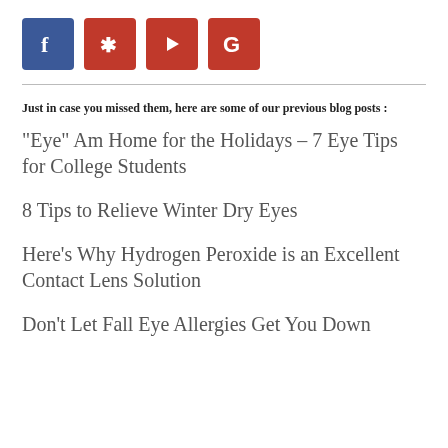[Figure (logo): Social media icons: Facebook (blue), Yelp (red), YouTube (dark red), Google (red)]
Just in case you missed them, here are some of our previous blog posts :
"Eye" Am Home for the Holidays – 7 Eye Tips for College Students
8 Tips to Relieve Winter Dry Eyes
Here's Why Hydrogen Peroxide is an Excellent Contact Lens Solution
Don't Let Fall Eye Allergies Get You Down